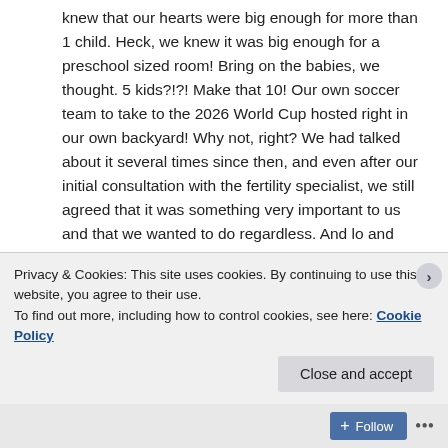knew that our hearts were big enough for more than 1 child. Heck, we knew it was big enough for a preschool sized room! Bring on the babies, we thought. 5 kids?!?! Make that 10! Our own soccer team to take to the 2026 World Cup hosted right in our own backyard! Why not, right? We had talked about it several times since then, and even after our initial consultation with the fertility specialist, we still agreed that it was something very important to us and that we wanted to do regardless. And lo and behold, we take my niece to a children's carnival, and there right in front of us, about a week after another “foster/adoption” conversation (despite fertility consultation), a booth in support of National Foster Month! How could we not sign up and get more information?! How could we possibly pass the booth by when it was so
Privacy & Cookies: This site uses cookies. By continuing to use this website, you agree to their use.
To find out more, including how to control cookies, see here: Cookie Policy